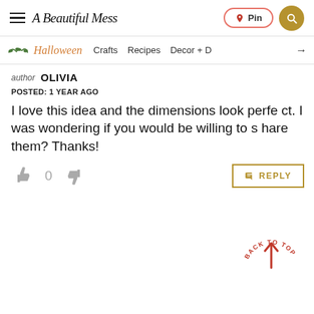A Beautiful Mess — Pin | Search
Halloween — Crafts  Recipes  Decor + →
author OLIVIA
POSTED: 1 YEAR AGO
I love this idea and the dimensions look perfect. I was wondering if you would be willing to share them? Thanks!
👍 0 👎 REPLY
BACK TO TOP ↑